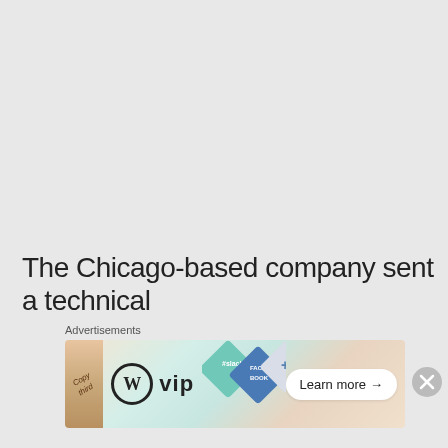The Chicago-based company sent a technical
[Figure (screenshot): Advertisement banner showing WordPress VIP logo on the left, social media platform icons (Slack, Facebook) in the center-right, and a 'Learn more →' button. Labeled 'Advertisements' above the banner. A close (X) button appears at the far right outside the banner.]